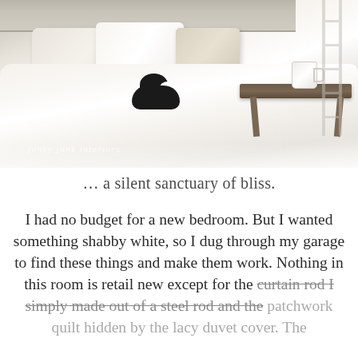[Figure (photo): A cozy bedroom scene with a rumpled white duvet/lacy bedding, multiple pillows, a black and white cat sleeping on the bed, and a rustic wooden bed tray holding a white mug and some papers. The headboard appears to be made of weathered gray wood planks. A ladder is partially visible at the right edge. A watermark reads 'funky junk interiors'.]
… a silent sanctuary of bliss.
I had no budget for a new bedroom. But I wanted something shabby white, so I dug through my garage to find these things and make them work. Nothing in this room is retail new except for the curtain rod I simply made out of a steel rod and the patchwork quilt hidden by the lacy duvet cover. The